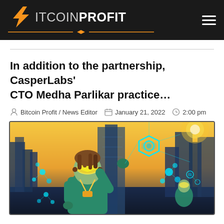Bitcoin Profit - News website header with logo and hamburger menu
In addition to the partnership, CasperLabs' CTO Medha Parlikar practice…
Bitcoin Profit / News Editor   January 21, 2022   2:00 pm
[Figure (illustration): Animated/comic-style illustration of a futuristic character with VR goggles and dreadlocks holding a glowing hexagonal holographic object in a cyberpunk city setting, with cyan glowing blockchain-like nodes and other characters in the background]